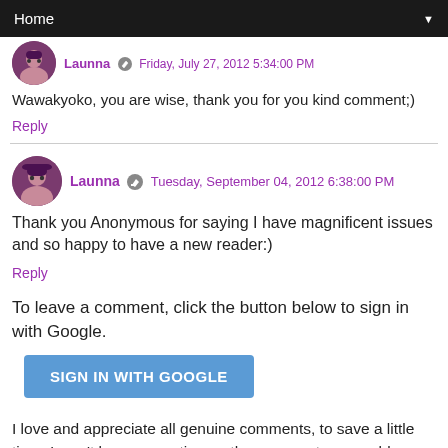Home
Launna  Friday, July 27, 2012 5:54:00 PM
Wawakyoko, you are wise, thank you for you kind comment;)
Reply
Launna  Tuesday, September 04, 2012 6:38:00 PM
Thank you Anonymous for saying I have magnificent issues and so happy to have a new reader:)
Reply
To leave a comment, click the button below to sign in with Google.
[Figure (other): Sign in with Google button (blue rounded rectangle)]
I love and appreciate all genuine comments, to save a little time, I won't be commenting on the comments on my blog (unless you don't have a